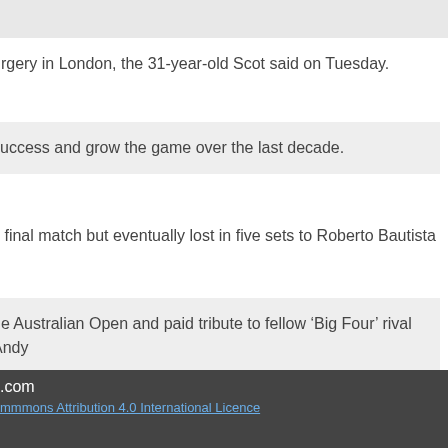urgery in London, the 31-year-old Scot said on Tuesday.
success and grow the game over the last decade.
s final match but eventually lost in five sets to Roberto Bautista
he Australian Open and paid tribute to fellow ‘Big Four’ rival Andy
.com
mmmons Attribution 4.0 International Licence